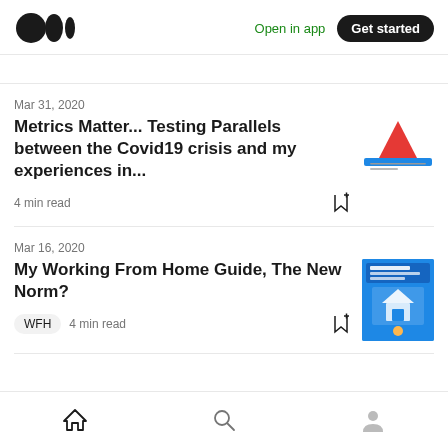Medium logo | Open in app | Get started
Mar 31, 2020
Metrics Matter... Testing Parallels between the Covid19 crisis and my experiences in...
4 min read
Mar 16, 2020
My Working From Home Guide, The New Norm?
WFH  4 min read
Home | Search | Profile